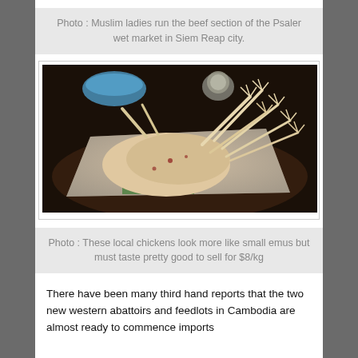Photo : Muslim ladies run the beef section of the Psaler wet market in Siem Reap city.
[Figure (photo): Photograph of plucked local chickens laid out on a white sack/bag at a market stall, with their feet and necks extended. A blue bowl and weighing scale visible in the background.]
Photo : These local chickens look more like small emus but must taste pretty good to sell for $8/kg
There have been many third hand reports that the two new western abattoirs and feedlots in Cambodia are almost ready to commence imports...